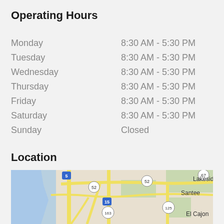Operating Hours
| Day | Hours |
| --- | --- |
| Monday | 8:30 AM - 5:30 PM |
| Tuesday | 8:30 AM - 5:30 PM |
| Wednesday | 8:30 AM - 5:30 PM |
| Thursday | 8:30 AM - 5:30 PM |
| Friday | 8:30 AM - 5:30 PM |
| Saturday | 8:30 AM - 5:30 PM |
| Sunday | Closed |
Location
[Figure (map): Google Maps showing San Diego area with highways 5, 52, 15, 163, 125, showing areas including Santee, Lakeside, El Cajon]